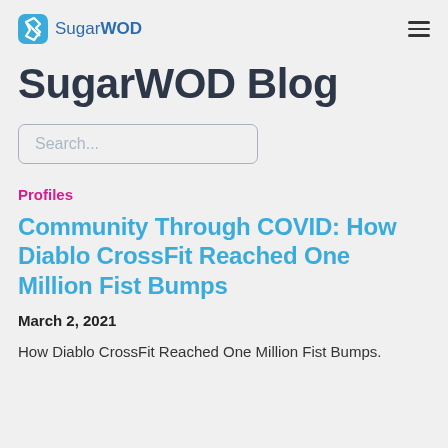SugarWOD
SugarWOD Blog
Search...
Profiles
Community Through COVID: How Diablo CrossFit Reached One Million Fist Bumps
March 2, 2021
How Diablo CrossFit Reached One Million Fist Bumps.